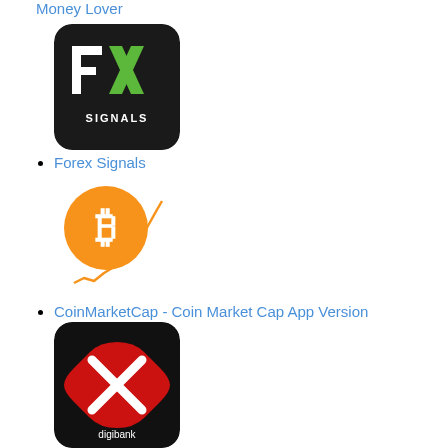Money Lover
[Figure (logo): FX Signals app icon - black background with white F and green X letters, SIGNALS text below]
Forex Signals
[Figure (logo): CoinMarketCap app icon - orange Bitcoin coin logo with orange line chart rising]
CoinMarketCap - Coin Market Cap App Version
[Figure (logo): DBS digibank SG app icon - black background with red X-shape badge and white digibank text]
DBS digibank SG
Most Popular